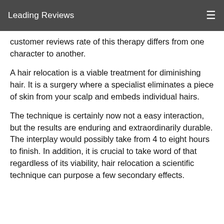Leading Reviews
customer reviews rate of this therapy differs from one character to another.
A hair relocation is a viable treatment for diminishing hair. It is a surgery where a specialist eliminates a piece of skin from your scalp and embeds individual hairs.
The technique is certainly now not a easy interaction, but the results are enduring and extraordinarily durable. The interplay would possibly take from 4 to eight hours to finish. In addition, it is crucial to take word of that regardless of its viability, hair relocation a scientific technique can purpose a few secondary effects.